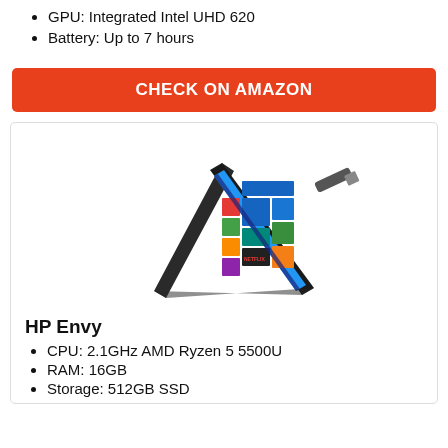GPU: Integrated Intel UHD 620
Battery: Up to 7 hours
CHECK ON AMAZON
[Figure (photo): HP Envy laptop in tent mode showing Windows 10 Start screen, with a USB drive nearby]
HP Envy
CPU: 2.1GHz AMD Ryzen 5 5500U
RAM: 16GB
Storage: 512GB SSD